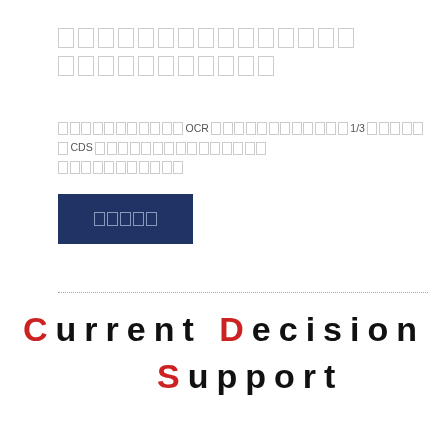□□□□□□□□□□□□□□□ □□□□□□□□□□
□□□□□□□□□□□OCR□□□□□□□□□□□□□1/3□□□□□□CDS□□□□□□□□□□□□□□□□□□□□□□□□□
□□□□□ (button)
Current Decision Support